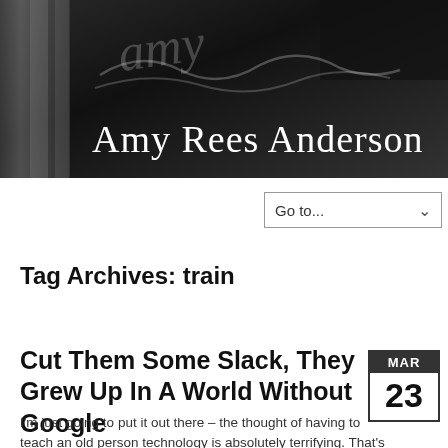[Figure (photo): Dark header banner with signature script and name 'Amy Rees Anderson' in white serif font on dark background with architectural columns visible]
Amy Rees Anderson
Go to...
Tag Archives: train
Cut Them Some Slack, They Grew Up In A World Without Google
MAR 23
I'm just going to put it out there – the thought of having to
teach an old person technology is absolutely terrifying. That's